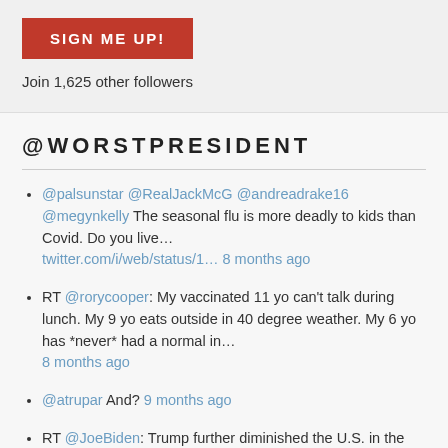SIGN ME UP!
Join 1,625 other followers
@WORSTPRESIDENT
@palsunstar @RealJackMcG @andreadrake16 @megynkelly The seasonal flu is more deadly to kids than Covid. Do you live... twitter.com/i/web/status/1... 8 months ago
RT @rorycooper: My vaccinated 11 yo can't talk during lunch. My 9 yo eats outside in 40 degree weather. My 6 yo has *never* had a normal in... 8 months ago
@atrupar And? 9 months ago
RT @JoeBiden: Trump further diminished the U.S. in the eyes of the world by expanding his